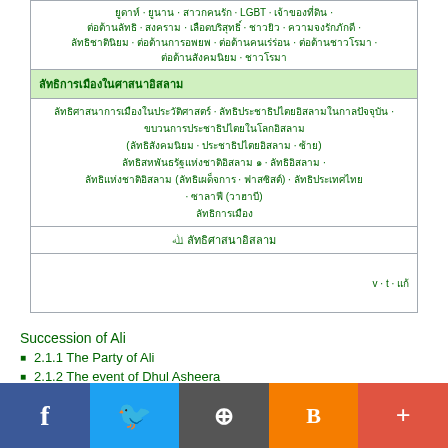| Thai text row with LGBT |
| Thai section header |
| Thai links content |
| Allah symbol + Thai |
| v·t·e |
Succession of Ali
2.1.1 The Party of Ali
2.1.2 The event of Dhul Asheera
2.1.3 Event of Ghadir Khumm
2.2 Ali's caliphate